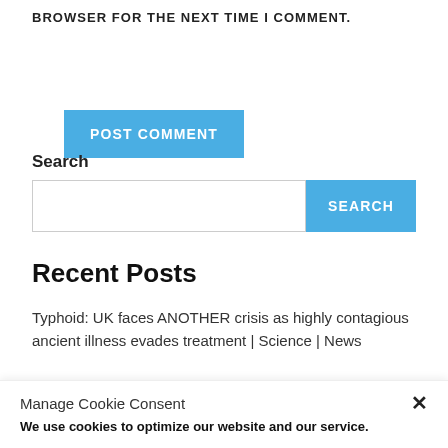BROWSER FOR THE NEXT TIME I COMMENT.
POST COMMENT
Search
SEARCH
Recent Posts
Typhoid: UK faces ANOTHER crisis as highly contagious ancient illness evades treatment | Science | News
Manage Cookie Consent
We use cookies to optimize our website and our service.